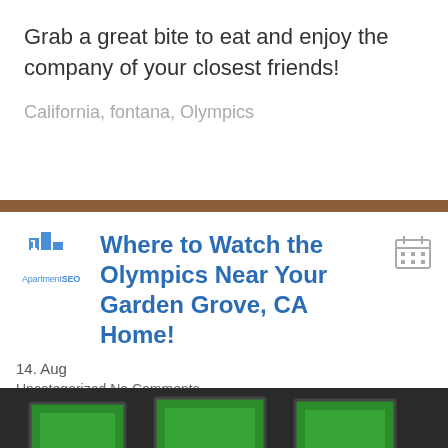Grab a great bite to eat and enjoy the company of your closest friends!
California, fontana, Olympics
Where to Watch the Olympics Near Your Garden Grove, CA Home!
14. Aug
Uncategorized No Comments
[Figure (photo): Interior of a sports bar with multiple TV screens showing green sports fields, patrons seated watching, bar taps visible in background, dimly lit atmosphere.]